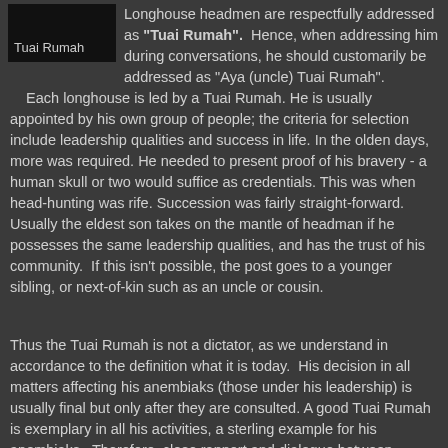[Figure (photo): Black square image with label 'Tuai Rumah' at bottom left]
Longhouse headmen are respectfully addressed as "Tuai Rumah". Hence, when addressing him during conversations, he should customarily be addressed as "Aya (uncle) Tuai Rumah". Each longhouse is led by a Tuai Rumah. He is usually appointed by his own group of people; the criteria for selection include leadership qualities and success in life. In the olden days, more was required. He needed to present proof of his bravery - a human skull or two would suffice as credentials. This was when head-hunting was rife. Succession was fairly straight-forward. Usually the eldest son takes on the mantle of headman if he possesses the same leadership qualities, and has the trust of his community. If this isn't possible, the post goes to a younger sibling, or next-of-kin such as an uncle or cousin.
Thus the Tuai Rumah is not a dictator, as we understand in accordance to the definition what it is today. His decision in all matters affecting his anembiaks (those under his leadership) is usually final but only after they are consulted. A good Tuai Rumah is exemplary in all his activities, a sterling example for his anembiaks. Therefore, close rapport and dialogue between...